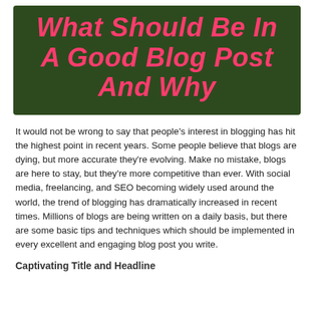[Figure (illustration): Dark green banner with bold italic pink/red text reading 'What Should Be In A Good Blog Post And Why']
It would not be wrong to say that people's interest in blogging has hit the highest point in recent years. Some people believe that blogs are dying, but more accurate they're evolving. Make no mistake, blogs are here to stay, but they're more competitive than ever. With social media, freelancing, and SEO becoming widely used around the world, the trend of blogging has dramatically increased in recent times. Millions of blogs are being written on a daily basis, but there are some basic tips and techniques which should be implemented in every excellent and engaging blog post you write.
Captivating Title and Headline